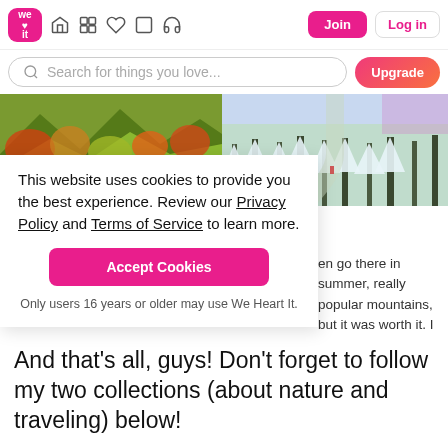[Figure (screenshot): We Heart It website navigation bar with logo, icons, Join and Log in buttons]
[Figure (screenshot): Search bar with 'Search for things you love...' placeholder and Upgrade button]
[Figure (photo): Autumn mountain landscape with colorful foliage and stream]
[Figure (photo): Snowy winter forest with snow-covered pine trees]
This website uses cookies to provide you the best experience. Review our Privacy Policy and Terms of Service to learn more.
Accept Cookies
Only users 16 years or older may use We Heart It.
en go there in summer, really popular mountains, but it was worth it. I know . And incredible as well!
And that's all, guys! Don't forget to follow my two collections (about nature and traveling) below!